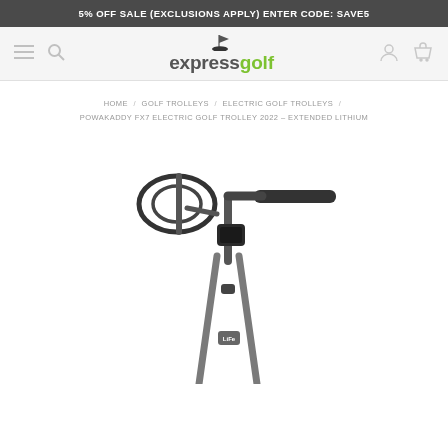5% OFF SALE (EXCLUSIONS APPLY) ENTER CODE: SAVE5
[Figure (logo): Express Golf logo with golf flag icon above text. 'express' in grey, 'golf' in green.]
HOME / GOLF TROLLEYS / ELECTRIC GOLF TROLLEYS / POWAKADDY FX7 ELECTRIC GOLF TROLLEY 2022 – EXTENDED LITHIUM
[Figure (photo): Close-up photo of the top portion of a PowaKaddy FX7 electric golf trolley, showing the black handlebar, control unit, and frame in black and grey, on a white background.]